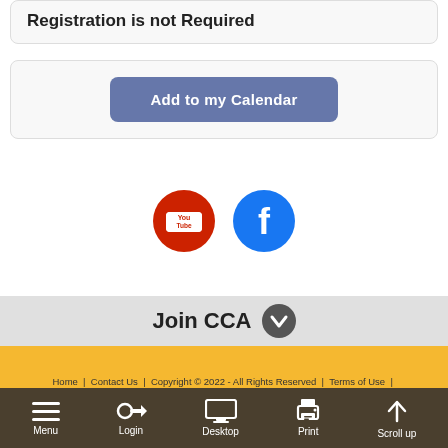Registration is not Required
Add to my Calendar
[Figure (logo): YouTube icon (red circle with white play button and 'You Tube' text) and Facebook icon (blue circle with white 'f')]
Join CCA
Home | Contact Us | Copyright © 2022 - All Rights Reserved | Terms of Use | Privacy Policy | Powered By ClubExpress
Menu | Login | Desktop | Print | Scroll up